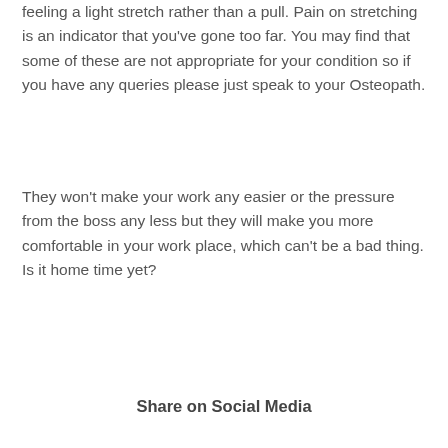feeling a light stretch rather than a pull.  Pain on stretching is an indicator that you've gone too far. You may find that some of these are not appropriate for your condition so if you have any queries please just speak to your Osteopath.
They won't make your work any easier or the pressure from the boss any less but they will make you more comfortable in your work place, which can't be a bad thing.  Is it home time yet?
Share on Social Media